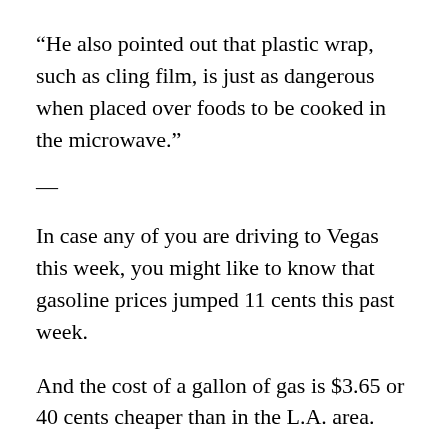“He also pointed out that plastic wrap, such as cling film, is just as dangerous when placed over foods to be cooked in the microwave.”
—
In case any of you are driving to Vegas this week, you might like to know that gasoline prices jumped 11 cents this past week.
And the cost of a gallon of gas is $3.65 or 40 cents cheaper than in the L.A. area.
The Shell station where I gas up went up to